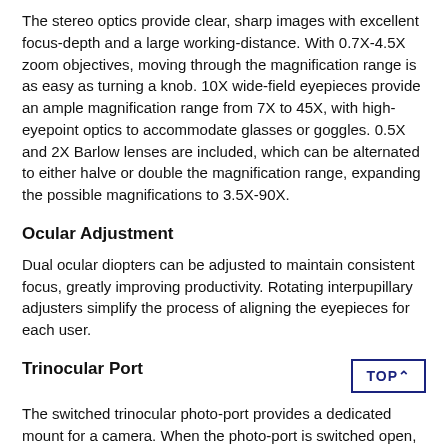The stereo optics provide clear, sharp images with excellent focus-depth and a large working-distance. With 0.7X-4.5X zoom objectives, moving through the magnification range is as easy as turning a knob. 10X wide-field eyepieces provide an ample magnification range from 7X to 45X, with high-eyepoint optics to accommodate glasses or goggles. 0.5X and 2X Barlow lenses are included, which can be alternated to either halve or double the magnification range, expanding the possible magnifications to 3.5X-90X.
Ocular Adjustment
Dual ocular diopters can be adjusted to maintain consistent focus, greatly improving productivity. Rotating interpupillary adjusters simplify the process of aligning the eyepieces for each user.
Trinocular Port
The switched trinocular photo-port provides a dedicated mount for a camera. When the photo-port is switched open, all light from the left objective is diverted to the port to provide maximum brightness